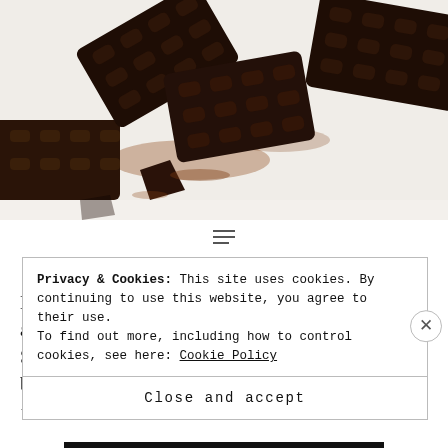[Figure (photo): Top-down photo of dark chocolate pieces shaped like LEGO bricks, scattered on a white surface with cocoa powder dusted around them.]
Healthy Homemade Chocolate | Simplified
Hello everyone, Today's recipe is so simple and easy and will definitely satisfy your chocolate cravings. Since I started this healthy journey, I have always been in a look out for healthy chocolate to eat, I couldn't t...
Privacy & Cookies: This site uses cookies. By continuing to use this website, you agree to their use.
To find out more, including how to control cookies, see here: Cookie Policy
Close and accept